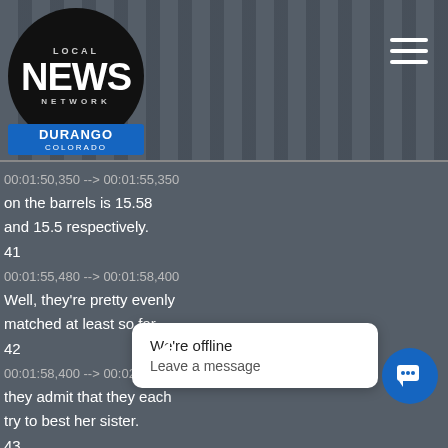LOCAL NEWS NETWORK DURANGO COLORADO
00:01:50,350 --> 00:01:55,350
on the barrels is 15.58
and 15.5 respectively.
41
00:01:55,480 --> 00:01:58,400
Well, they're pretty evenly
matched at least so far,
42
00:01:58,400 --> 00:02:02,053
they admit that they each
try to best her sister.
43
[Figure (screenshot): Chat widget showing 'We're offline / Leave a message' popup with blue chat button]